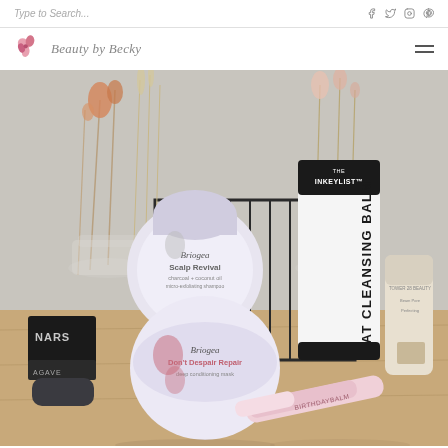Type to Search...
[Figure (logo): Beauty by Becky blog logo with flower icon and cursive script]
[Figure (photo): Flat lay beauty product photo showing Briogea Scalp Revival charcoal + coconut oil micro-exfoliating shampoo, Briogea Don't Despair Repair deep conditioning mask, The Inkey List OAT CLEANSING BALM, NARS product, AGAVE product, a pink Birthday Balm lip product, and a beige compact/stick, arranged on a wooden surface with dried floral arrangement in background]